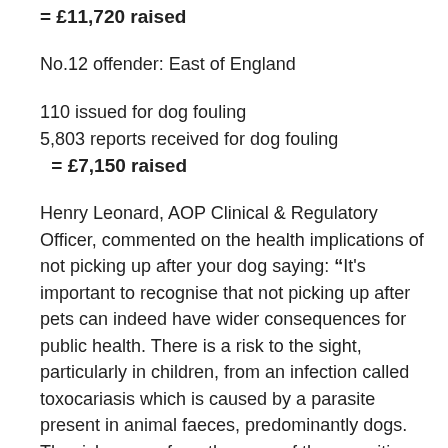= £11,720 raised
No.12 offender: East of England
110 issued for dog fouling
5,803 reports received for dog fouling
= £7,150 raised
Henry Leonard, AOP Clinical & Regulatory Officer, commented on the health implications of not picking up after your dog saying: “It's important to recognise that not picking up after pets can indeed have wider consequences for public health. There is a risk to the sight, particularly in children, from an infection called toxocariasis which is caused by a parasite present in animal faeces, predominantly dogs. The risk comes from the eggs of the parasitic worm, Toxocara Canis, when they are ingested